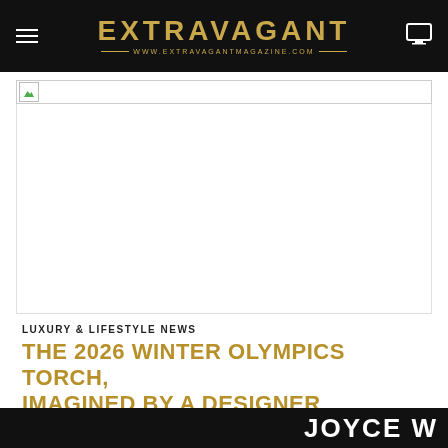EXTRAVAGANT — WWW.EXTRAVAGANTMAGAZINE.COM
[Figure (photo): Broken image placeholder thumbnail in bordered box]
LUXURY & LIFESTYLE NEWS
THE 2026 WINTER OLYMPICS TORCH, IMAGINED BY A DESIGNER INSPIRED BY MILAN'S ARCHITECTURE
[ad_1] While the 2020 Tokyo Summer Olympics are currently
JOYCE W